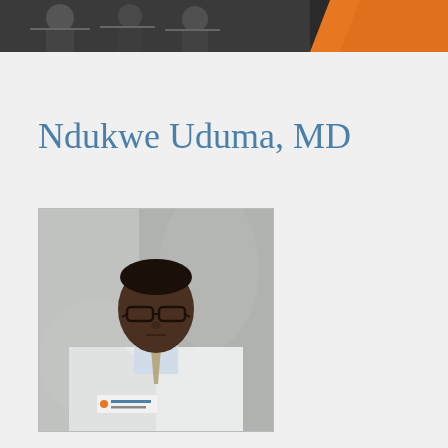[Figure (photo): Website header banner with people in an office setting and an orange geometric accent on the right side]
Ndukwe Uduma, MD
[Figure (photo): Professional headshot of Dr. Ndukwe Uduma wearing a white lab coat with UTHealth East Texas Physicians logo, light blue shirt, and tie, against a gray/marble background]